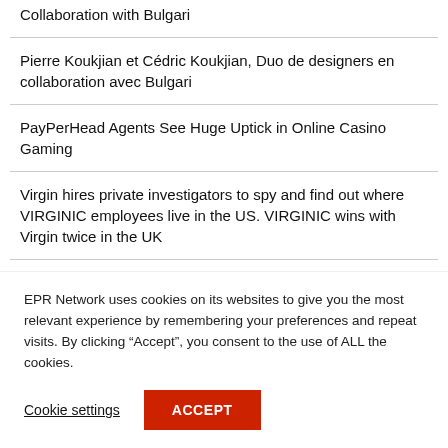Collaboration with Bulgari
Pierre Koukjian et Cédric Koukjian, Duo de designers en collaboration avec Bulgari
PayPerHead Agents See Huge Uptick in Online Casino Gaming
Virgin hires private investigators to spy and find out where VIRGINIC employees live in the US. VIRGINIC wins with Virgin twice in the UK
Former Duff & Phelps EMEA Leader Yann Magnan joins 73 Strings as Co-founder and CEO
EPR Network uses cookies on its websites to give you the most relevant experience by remembering your preferences and repeat visits. By clicking "Accept", you consent to the use of ALL the cookies.
Cookie settings | ACCEPT